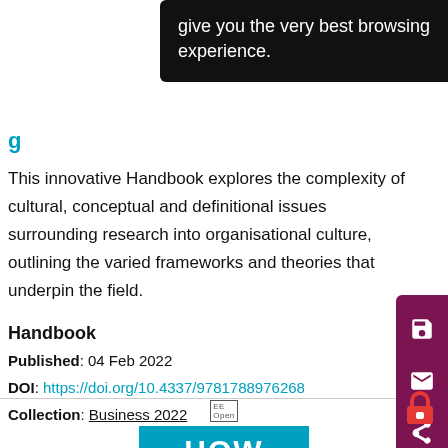[Figure (screenshot): Black tooltip overlay showing text: 'give you the very best browsing experience.']
give you the very best browsing experience.
This innovative Handbook explores the complexity of cultural, conceptual and definitional issues surrounding research into organisational culture, outlining the varied frameworks and theories that underpin the field.
Handbook
Published:  04 Feb 2022
DOI:  https://doi.org/10.4337/9781788976268
Collection:  Business 2022
[Figure (logo): EE Open logo and HOW banner in teal/cyan color at bottom of page]